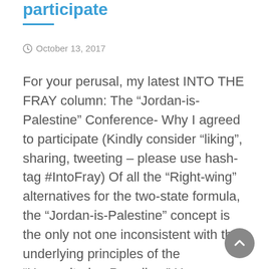participate
October 13, 2017
For your perusal, my latest INTO THE FRAY column: The “Jordan-is-Palestine” Conference- Why I agreed to participate (Kindly consider “liking”, sharing, tweeting – please use hash-tag #IntoFray) Of all the “Right-wing” alternatives for the two-state formula, the “Jordan-is-Palestine” concept is the only not one inconsistent with the underlying principles of the “Humanitarian Paradigm” H...